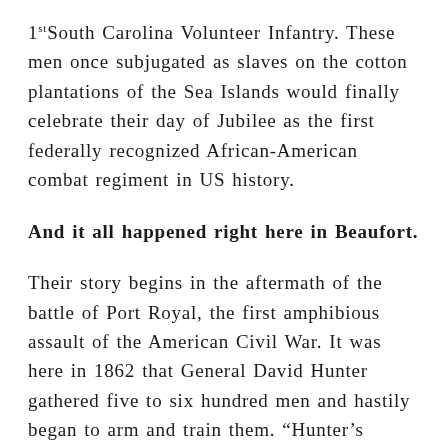1st South Carolina Volunteer Infantry. These men once subjugated as slaves on the cotton plantations of the Sea Islands would finally celebrate their day of Jubilee as the first federally recognized African-American combat regiment in US history.
And it all happened right here in Beaufort.
Their story begins in the aftermath of the battle of Port Royal, the first amphibious assault of the American Civil War. It was here in 1862 that General David Hunter gathered five to six hundred men and hastily began to arm and train them. “Hunter’s regiment” spent their short existence among the military landscape and